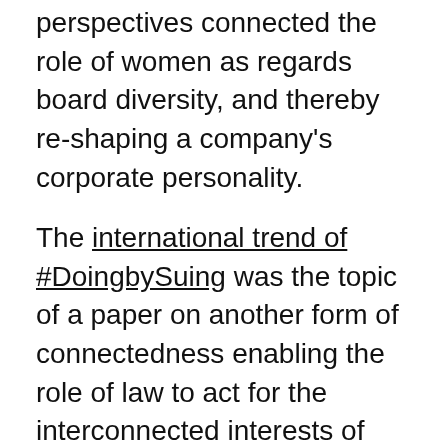perspectives connected the role of women as regards board diversity, and thereby re-shaping a company's corporate personality.
The international trend of #DoingbySuing was the topic of a paper on another form of connectedness enabling the role of law to act for the interconnected interests of finance, societal needs, and the environment. The discussion concerning these forms of legal interests exemplified the potential robustness of law as a tool for promoting sustainability.
A sustainable business model cannot work without agents. The discourse concerning these kinds of connectedness illuminated the important role played by each of these agents for sustainability. These